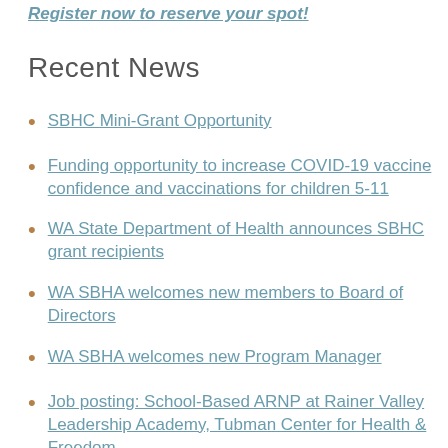Register now to reserve your spot!
Recent News
SBHC Mini-Grant Opportunity
Funding opportunity to increase COVID-19 vaccine confidence and vaccinations for children 5-11
WA State Department of Health announces SBHC grant recipients
WA SBHA welcomes new members to Board of Directors
WA SBHA welcomes new Program Manager
Job posting: School-Based ARNP at Rainer Valley Leadership Academy, Tubman Center for Health & Freedom
Job posting: School-Based Clinic Administrator at Nova High School, Country Doctor Community Health Centers
Webinar June 7, 2022: Relationship between School-